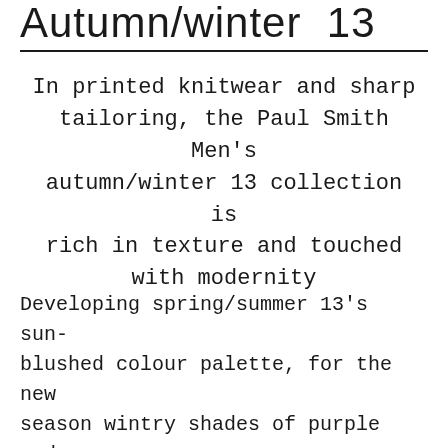Autumn/winter  13
In printed knitwear and sharp tailoring, the Paul Smith Men's autumn/winter 13 collection is rich in texture and touched with modernity
Developing spring/summer 13's sun-blushed colour palette, for the new season wintry shades of purple and turquoise are complimented by citrus tones and contrasted with more muted